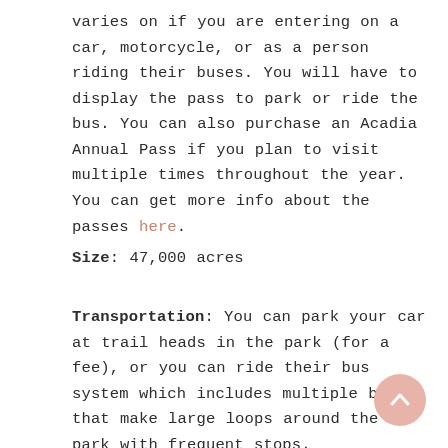varies on if you are entering on a car, motorcycle, or as a person riding their buses. You will have to display the pass to park or ride the bus. You can also purchase an Acadia Annual Pass if you plan to visit multiple times throughout the year.  You can get more info about the passes here.
Size: 47,000 acres
Transportation: You can park your car at trail heads in the park (for a fee), or you can ride their bus system which includes multiple buses that make large loops around the park with frequent stops.